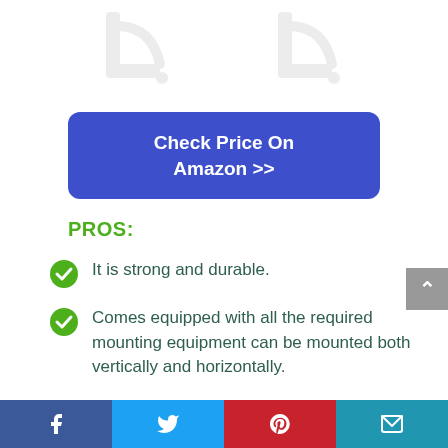[Figure (illustration): Two light gray shelf bracket icons shown side by side at the top of the page]
Check Price On Amazon >>
PROS:
It is strong and durable.
Comes equipped with all the required mounting equipment can be mounted both vertically and horizontally.
Facebook | Twitter | Pinterest | Email